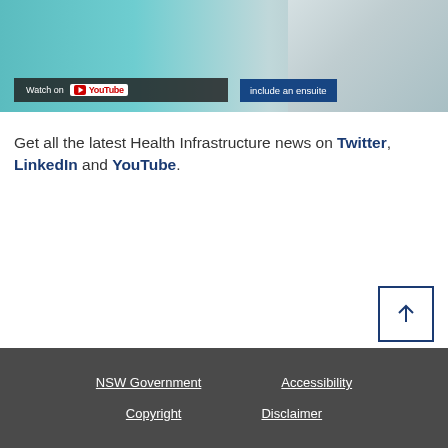[Figure (screenshot): Hospital room image with YouTube 'Watch on YouTube' overlay button and a blue caption bar reading 'include an ensuite']
Get all the latest Health Infrastructure news on Twitter, LinkedIn and YouTube.
[Figure (other): Back to top button — upward arrow in a square border]
NSW Government   Accessibility   Copyright   Disclaimer